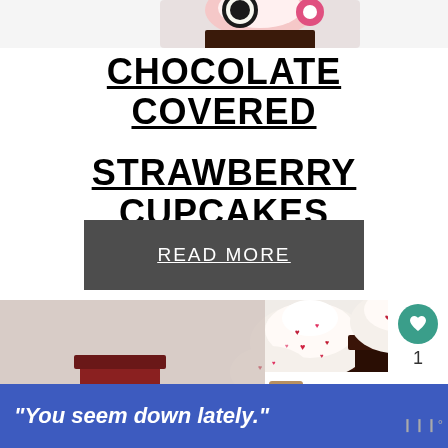[Figure (photo): Top portion of chocolate cupcake with pink flower decoration, partially cropped at top of page]
CHOCOLATE COVERED STRAWBERRY CUPCAKES
[Figure (other): Dark gray READ MORE button with underlined white text]
[Figure (photo): Chocolate cupcakes with white frosting and heart sprinkles, Valentine's theme. Side panel shows heart/like button (teal), number 1, share button, and What's Next - Orange Extract promo.]
“You seem down lately.”